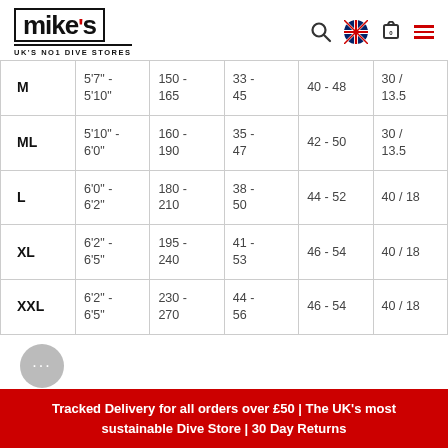mike's UK'S NO1 DIVE STORES
| M | 5'7" -
5'10" | 150 -
165 | 33 -
45 | 40 - 48 | 30 /
13.5 |
| ML | 5'10" -
6'0" | 160 -
190 | 35 -
47 | 42 - 50 | 30 /
13.5 |
| L | 6'0" -
6'2" | 180 -
210 | 38 -
50 | 44 - 52 | 40 / 18 |
| XL | 6'2" -
6'5" | 195 -
240 | 41 -
53 | 46 - 54 | 40 / 18 |
| XXL | 6'2" -
6'5" | 230 -
270 | 44 -
56 | 46 - 54 | 40 / 18 |
Tracked Delivery for all orders over £50 | The UK's most sustainable Dive Store | 30 Day Returns